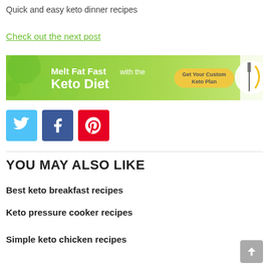Quick and easy keto dinner recipes
Check out the next post
[Figure (infographic): Green banner ad: 'Melt Fat Fast with the Keto Diet' with a 'Get Your Custom Keto Plan' button and a plate with fork and measuring tape image on the right.]
[Figure (infographic): Three social sharing icons: Twitter (light blue), Facebook (dark blue), Pinterest (red)]
YOU MAY ALSO LIKE
Best keto breakfast recipes
Keto pressure cooker recipes
Simple keto chicken recipes